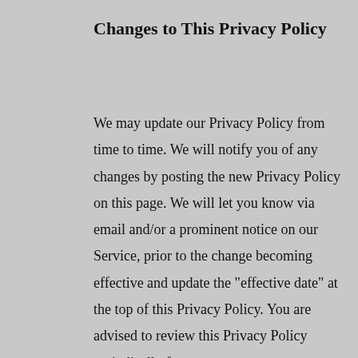Changes to This Privacy Policy
We may update our Privacy Policy from time to time. We will notify you of any changes by posting the new Privacy Policy on this page. We will let you know via email and/or a prominent notice on our Service, prior to the change becoming effective and update the "effective date" at the top of this Privacy Policy. You are advised to review this Privacy Policy periodically for